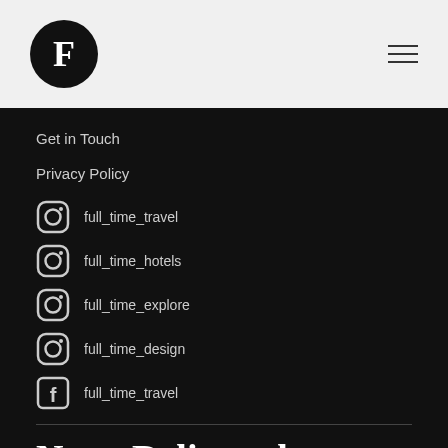F [logo] [hamburger menu]
Get in Touch
Privacy Policy
full_time_travel (Instagram)
full_time_hotels (Instagram)
full_time_explore (Instagram)
full_time_design (Instagram)
full_time_travel (Facebook)
News Delivered Weekly
We deliver newsletters on Tuesday and Thursday